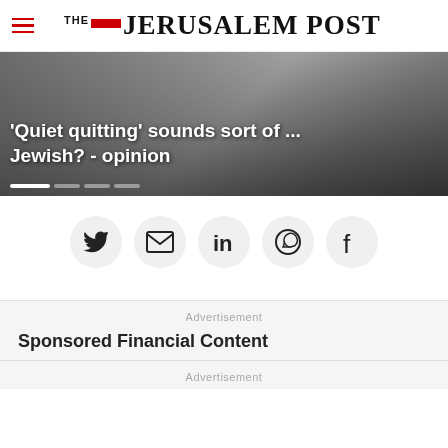THE JERUSALEM POST
[Figure (photo): Hero image showing a person's feet/legs on stairs or treadmill, with overlay text: 'Quiet quitting sounds sort of ... Jewish? - opinion']
[Figure (infographic): Social share buttons row: Twitter, Email, LinkedIn, WhatsApp, Facebook — each in a light grey circle]
Advertisement
Sponsored Financial Content
Advertisement